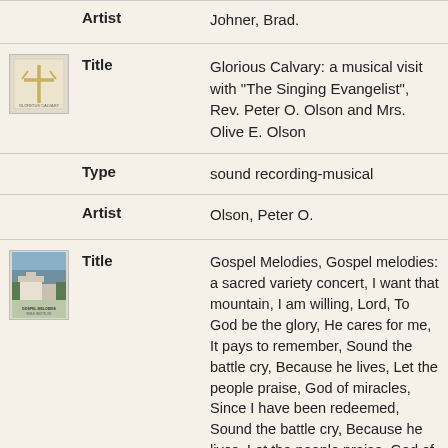|  | Field | Value |
| --- | --- | --- |
|  | Artist | Johner, Brad. |
| [image: Glorious Calvary album] | Title | Glorious Calvary: a musical visit with "The Singing Evangelist", Rev. Peter O. Olson and Mrs. Olive E. Olson |
|  | Type | sound recording-musical |
|  | Artist | Olson, Peter O. |
| [image: Gospel Melodies album] | Title | Gospel Melodies, Gospel melodies: a sacred variety concert, I want that mountain, I am willing, Lord, To God be the glory, He cares for me, It pays to remember, Sound the battle cry, Because he lives, Let the people praise, God of miracles, Since I have been redeemed, Sound the battle cry, Because he lives, Let the people praise, God of miracle, Since I have |